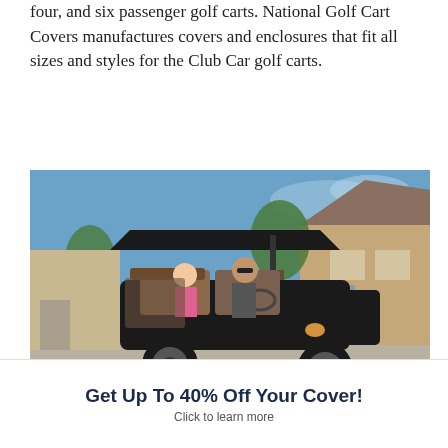four, and six passenger golf carts. National Golf Cart Covers manufactures covers and enclosures that fit all sizes and styles for the Club Car golf carts.
[Figure (photo): A black multi-passenger golf cart with two people (a woman and a child) sitting in it, parked on a suburban driveway in front of a large house with trees in the background.]
E-Z-GO Golf Cart Enclosures
Get Up To 40% Off Your Cover!
Click to learn more